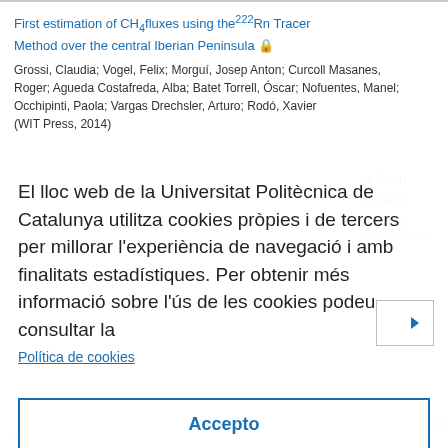First estimation of CH4fluxes using the222Rn Tracer Method over the central Iberian Peninsula
Grossi, Claudia; Vogel, Felix; Morguí, Josep Anton; Curcoll Masanes, Roger; Agueda Costafreda, Alba; Batet Torrell, Óscar; Nofuentes, Manel; Occhipinti, Paola; Vargas Drechsler, Arturo; Rodó, Xavier (WIT Press, 2014)
El lloc web de la Universitat Politècnica de Catalunya utilitza cookies pròpies i de tercers per millorar l'experiència de navegació i amb finalitats estadístiques. Per obtenir més informació sobre l'ús de les cookies podeu consultar la
Política de cookies
Accepto
© UPC . Servei de Biblioteques, Publicacions i Arxius